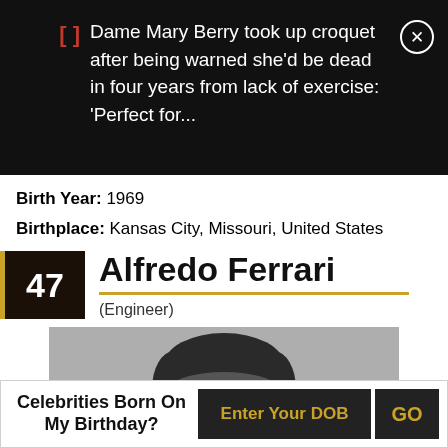Dame Mary Berry took up croquet after being warned she'd be dead in four years from lack of exercise: 'Perfect for...
Birth Year: 1969
Birthplace: Kansas City, Missouri, United States
47 Alfredo Ferrari (Engineer)
[Figure (photo): Black and white historical photograph of Alfredo Ferrari, showing his face and upper body, dark hair, looking at camera]
Celebrities Born On My Birthday? Enter Your DOB GO